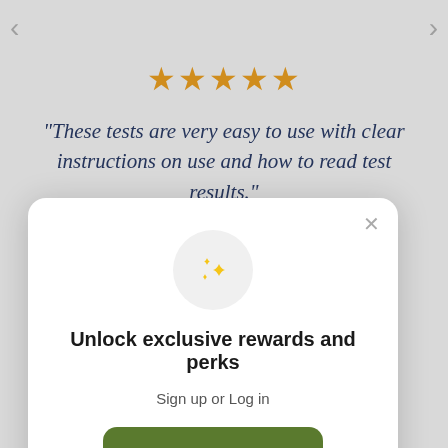[Figure (screenshot): Five orange/gold star rating icons displayed in a row]
"These tests are very easy to use with clear instructions on use and how to read test results."
Maria M.
[Figure (infographic): Modal popup with sparkle icon, title 'Unlock exclusive rewards and perks', sign up or log in prompt, and a green Sign up button]
Unlock exclusive rewards and perks
Sign up or Log in
Sign up
Already have an account? Sign in
$ 65.55  $ 55.00